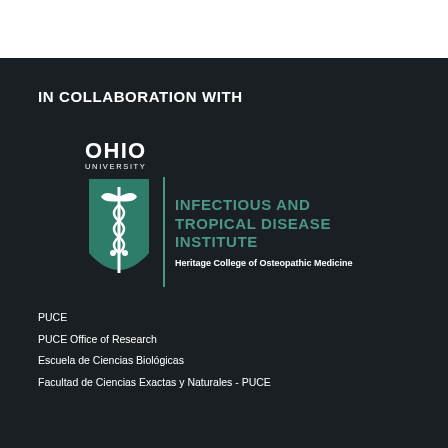IN COLLABORATION WITH
[Figure (logo): Ohio University Infectious and Tropical Disease Institute, Heritage College of Osteopathic Medicine logo. Features a green shield with caduceus symbol, vertical teal divider line, 'INFECTIOUS AND TROPICAL DISEASE INSTITUTE' in teal uppercase text, and 'Heritage College of Osteopathic Medicine' in white bold text.]
PUCE
PUCE Office of Research
Escuela de Ciencias Biológicas
Facultad de Ciencias Exactas y Naturales - PUCE